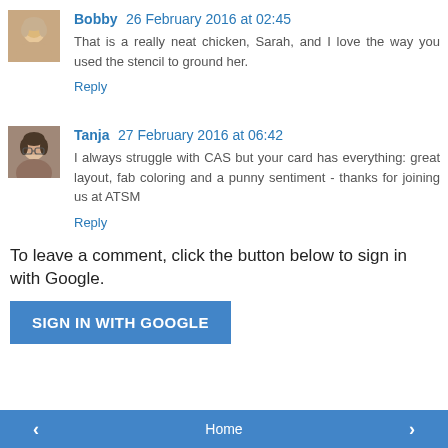[Figure (photo): Avatar photo of Bobby, a woman with short blonde/gray hair]
Bobby 26 February 2016 at 02:45
That is a really neat chicken, Sarah, and I love the way you used the stencil to ground her.
Reply
[Figure (photo): Avatar photo of Tanja, a woman with dark hair wearing glasses]
Tanja 27 February 2016 at 06:42
I always struggle with CAS but your card has everything: great layout, fab coloring and a punny sentiment - thanks for joining us at ATSM
Reply
To leave a comment, click the button below to sign in with Google.
SIGN IN WITH GOOGLE
< Home >